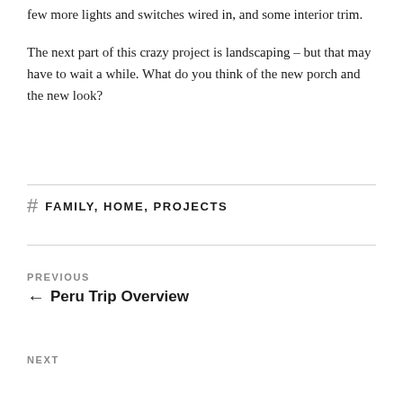few more lights and switches wired in, and some interior trim.
The next part of this crazy project is landscaping – but that may have to wait a while. What do you think of the new porch and the new look?
# FAMILY, HOME, PROJECTS
Previous ← Peru Trip Overview
Next